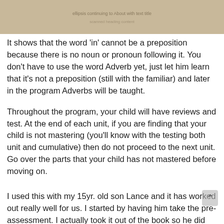[Figure (photo): Faded tan/beige banner image at top of page with barely legible text]
It shows that the word 'in' cannot be a preposition because there is no noun or pronoun following it. You don't have to use the word Adverb yet, just let him learn that it's not a preposition (still with the familiar) and later in the program Adverbs will be taught.
Throughout the program, your child will have reviews and test. At the end of each unit, if you are finding that your child is not mastering (you'll know with the testing both unit and cumulative) then do not proceed to the next unit. Go over the parts that your child has not mastered before moving on.
I used this with my 15yr. old son Lance and it has worked out really well for us. I started by having him take the pre-assessment. I actually took it out of the book so he did not see the results as suggested by Wanda. We took